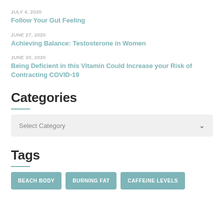JULY 4, 2020
Follow Your Gut Feeling
JUNE 27, 2020
Achieving Balance: Testosterone in Women
JUNE 20, 2020
Being Deficient in this Vitamin Could Increase your Risk of Contracting COVID-19
Categories
Select Category
Tags
BEACH BODY
BURNING FAT
CAFFEINE LEVELS